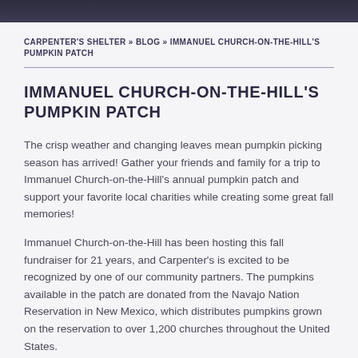CARPENTER'S SHELTER » BLOG » IMMANUEL CHURCH-ON-THE-HILL'S PUMPKIN PATCH
IMMANUEL CHURCH-ON-THE-HILL'S PUMPKIN PATCH
The crisp weather and changing leaves mean pumpkin picking season has arrived! Gather your friends and family for a trip to Immanuel Church-on-the-Hill's annual pumpkin patch and support your favorite local charities while creating some great fall memories!
Immanuel Church-on-the-Hill has been hosting this fall fundraiser for 21 years, and Carpenter's is excited to be recognized by one of our community partners. The pumpkins available in the patch are donated from the Navajo Nation Reservation in New Mexico, which distributes pumpkins grown on the reservation to over 1,200 churches throughout the United States.